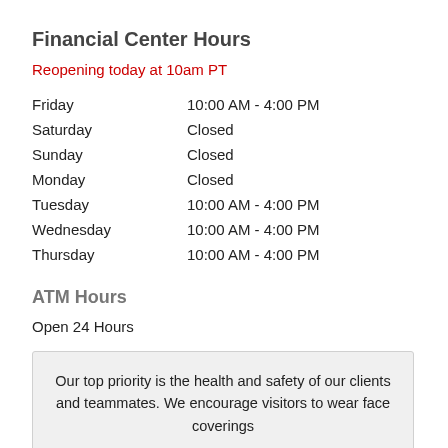Financial Center Hours
Reopening today at 10am PT
| Day | Hours |
| --- | --- |
| Friday | 10:00 AM - 4:00 PM |
| Saturday | Closed |
| Sunday | Closed |
| Monday | Closed |
| Tuesday | 10:00 AM - 4:00 PM |
| Wednesday | 10:00 AM - 4:00 PM |
| Thursday | 10:00 AM - 4:00 PM |
ATM Hours
Open 24 Hours
Our top priority is the health and safety of our clients and teammates. We encourage visitors to wear face coverings